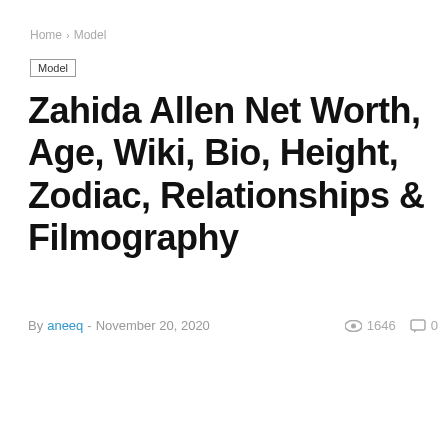Home › Model
Model
Zahida Allen Net Worth, Age, Wiki, Bio, Height, Zodiac, Relationships & Filmography
By aneeq - November 20, 2020  1646  0